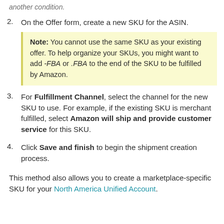another condition.
2. On the Offer form, create a new SKU for the ASIN.
Note: You cannot use the same SKU as your existing offer. To help organize your SKUs, you might want to add -FBA or .FBA to the end of the SKU to be fulfilled by Amazon.
3. For Fulfillment Channel, select the channel for the new SKU to use. For example, if the existing SKU is merchant fulfilled, select Amazon will ship and provide customer service for this SKU.
4. Click Save and finish to begin the shipment creation process.
This method also allows you to create a marketplace-specific SKU for your North America Unified Account.